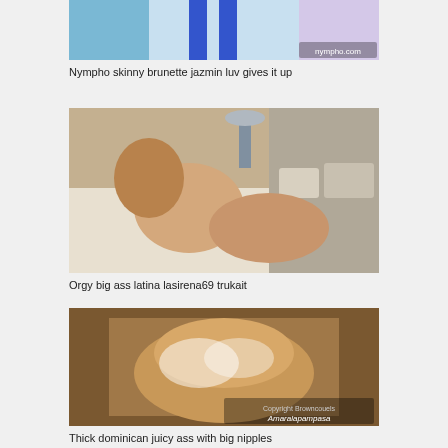[Figure (photo): Thumbnail image - top portion of video thumbnail (cropped at top)]
Nympho skinny brunette jazmin luv gives it up
[Figure (photo): Thumbnail image - orgy scene on bed]
Orgy big ass latina lasirena69 trukait
[Figure (photo): Thumbnail image - thick dominican]
Thick dominican juicy ass with big nipples
[Figure (photo): Thumbnail image - partially visible at bottom]